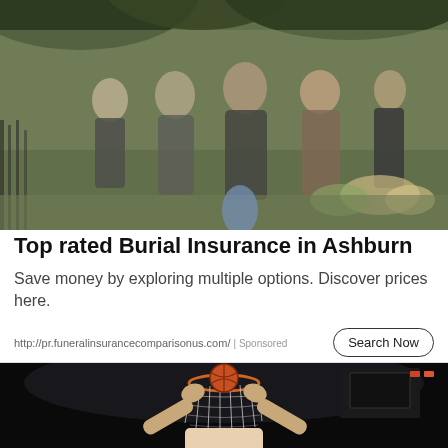[Figure (photo): Blurry outdoor photo of a group of people gathered at what appears to be a funeral or memorial service, with green trees and foliage in the background and flowers visible.]
Top rated Burial Insurance in Ashburn
Save money by exploring multiple options. Discover prices here.
http://pr.funeralinsurancecomparisonus.com/ | Sponsored
[Figure (photo): Dark photo showing a basketball player from below dunking or handling a basketball near a hoop with netting visible.]